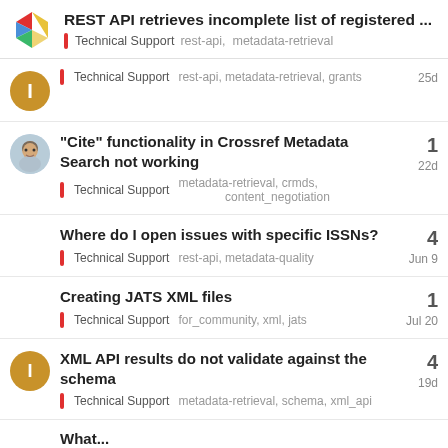REST API retrieves incomplete list of registered ... | Technical Support  rest-api,  metadata-retrieval
Technical Support  rest-api, metadata-retrieval, grants  25d
“Cite” functionality in Crossref Metadata Search not working | Technical Support  metadata-retrieval, crmds, content_negotiation  22d  replies: 1
Where do I open issues with specific ISSNs? | Technical Support  rest-api, metadata-quality  Jun 9  replies: 4
Creating JATS XML files | Technical Support  for_community, xml, jats  Jul 20  replies: 1
XML API results do not validate against the schema | Technical Support  metadata-retrieval, schema, xml_api  19d  replies: 4
What...